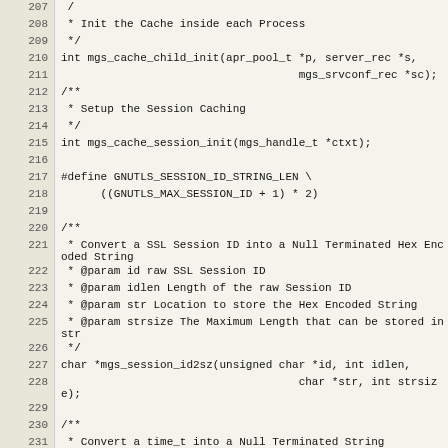Source code listing, lines 207-236, C header file with function declarations and documentation comments for mgs cache and session functions.